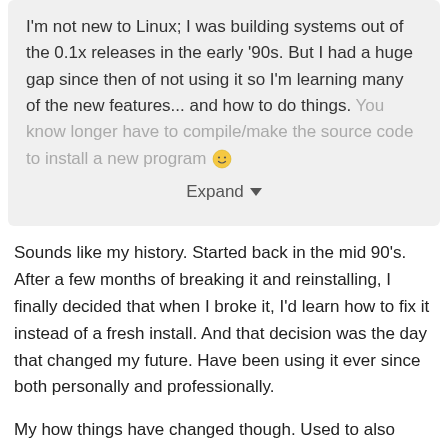I'm not new to Linux; I was building systems out of the 0.1x releases in the early '90s. But I had a huge gap since then of not using it so I'm learning many of the new features... and how to do things. You know longer have to compile/make the source code to install a new program 🙂
Expand
Sounds like my history. Started back in the mid 90's. After a few months of breaking it and reinstalling, I finally decided that when I broke it, I'd learn how to fix it instead of a fresh install. And that decision was the day that changed my future. Have been using it ever since both personally and professionally.
My how things have changed though. Used to also compile everything from source (even had an affair with Gentoo for a while) but now I just accept the convenience of using the precompiled binaries for most software. Thanks to individuals like @jiho lee such conveniences exist.
Know what you're saying about OneNote. I'm forced to use Windows as my desktop OS at work, and got used to OneNote too. As much as I didn't